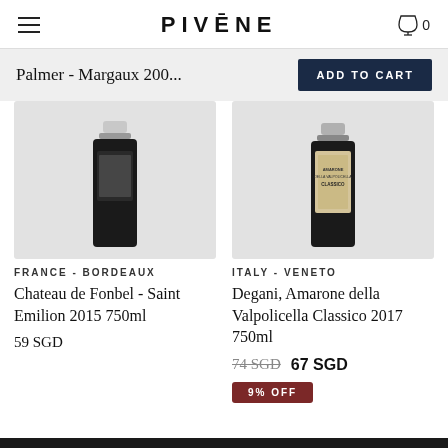PIVĒNE
Palmer - Margaux 200...  ADD TO CART
[Figure (photo): Two wine bottle product images partially cropped: left bottle is dark with minimal white label (Chateau de Fonbel), right bottle has cream/beige label (Degani Amarone della Valpolicella Classico)]
FRANCE - BORDEAUX
Chateau de Fonbel - Saint Emilion 2015 750ml
59 SGD
ITALY - VENETO
Degani, Amarone della Valpolicella Classico 2017 750ml
74 SGD  67 SGD
9% OFF